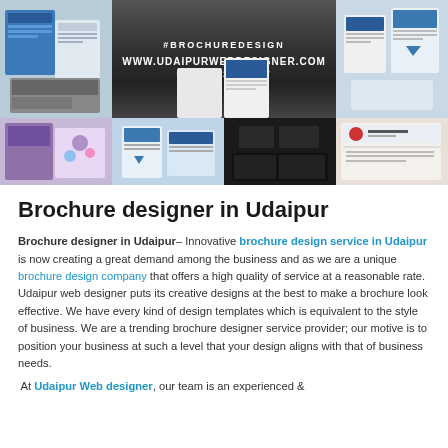[Figure (photo): A collage of brochure design images. Top row: left cell shows blue/grey printed brochures, center cell shows a dark background with '#BROCHUREDESIGN', 'WWW.UDAIPURWEBDESIGNER.COM', '+91 9602841237', right cell shows white/grey brochures. Bottom row: four cells showing various brochure and business card designs including purple/colorful brochures, blue corporate brochures, dark business cards, and red/white branded materials.]
Brochure designer in Udaipur
Brochure designer in Udaipur– Innovative brochure design service in Udaipur is now creating a great demand among the business and as we are a unique brochure design company that offers a high quality of service at a reasonable rate. Udaipur web designer puts its creative designs at the best to make a brochure look effective. We have every kind of design templates which is equivalent to the style of business. We are a trending brochure designer service provider; our motive is to position your business at such a level that your design aligns with that of business needs.
At Udaipur Web designer, our team is an experienced &